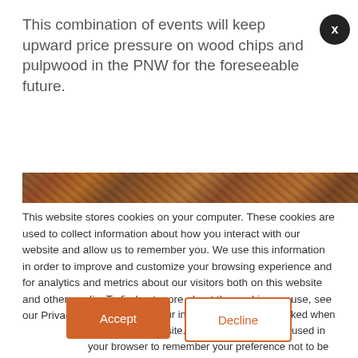This combination of events will keep upward price pressure on wood chips and pulpwood in the PNW for the foreseeable future.
[Figure (photo): Photograph of wood chips and pulpwood pieces in various shades of brown and orange]
This website stores cookies on your computer. These cookies are used to collect information about how you interact with our website and allow us to remember you. We use this information in order to improve and customize your browsing experience and for analytics and metrics about our visitors both on this website and other media. To find out more about the cookies we use, see our Privacy Policy.
If you decline, your information won’t be tracked when you visit this website. A single cookie will be used in your browser to remember your preference not to be tracked.
Accept
Decline